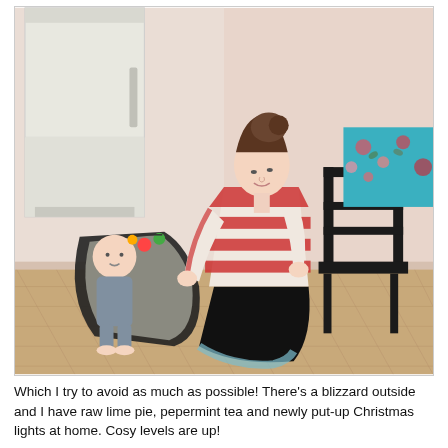[Figure (photo): A woman in a red-and-white striped long-sleeve shirt and black skirt kneels on a parquet floor, interacting with a baby lying in a black bouncer/rocker seat with colorful toys attached. In the background is a white vintage refrigerator on the left, and a black wooden chair with a floral tablecloth on the right. The room has pink walls and a parquet wood floor.]
Which I try to avoid as much as possible! There's a blizzard outside and I have raw lime pie, pepermint tea and newly put-up Christmas lights at home. Cosy levels are up!